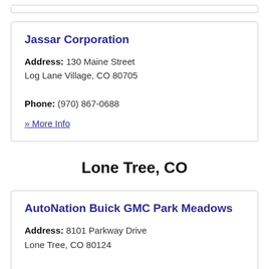Jassar Corporation
Address: 130 Maine Street
Log Lane Village, CO 80705
Phone: (970) 867-0688
» More Info
Lone Tree, CO
AutoNation Buick GMC Park Meadows
Address: 8101 Parkway Drive
Lone Tree, CO 80124
Phone: (720) 836-7095